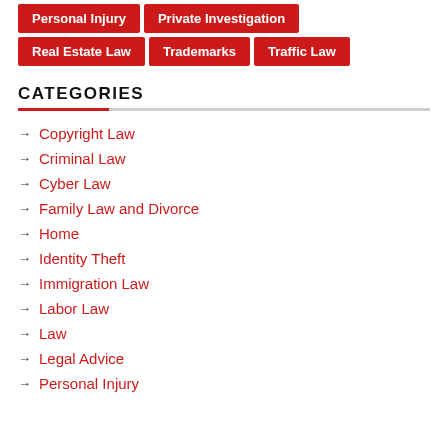Personal Injury
Private Investigation
Real Estate Law
Trademarks
Traffic Law
CATEGORIES
Copyright Law
Criminal Law
Cyber Law
Family Law and Divorce
Home
Identity Theft
Immigration Law
Labor Law
Law
Legal Advice
Personal Injury